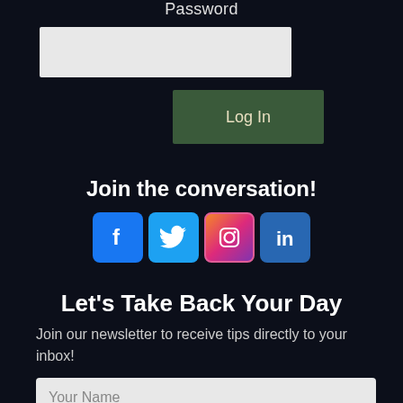Password
[Figure (screenshot): Password input field (light grey rectangle)]
Log In
Join the conversation!
[Figure (infographic): Social media icons: Facebook, Twitter, Instagram, LinkedIn]
Let's Take Back Your Day
Join our newsletter to receive tips directly to your inbox!
[Figure (screenshot): Your Name input field (light grey rectangle)]